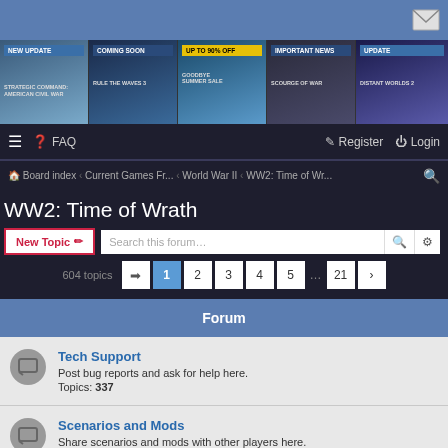[Figure (screenshot): Top blue header bar with envelope/message icon on the right]
[Figure (screenshot): Banner strip with 5 game advertisement tiles: NEW UPDATE - Strategic Command American Civil War, COMING SOON - Rule the Waves 3, UP TO 90% OFF - Goodbye Summer Sale, IMPORTANT NEWS - Scourge of War, UPDATE - Distant Worlds 2]
FAQ | Register | Login
Board index · Current Games Fr... · World War II · WW2: Time of Wr...
WW2: Time of Wrath
New Topic | Search this forum... | 604 topics | 1 2 3 4 5 ... 21 >
Forum
Tech Support
Post bug reports and ask for help here.
Topics: 337
Scenarios and Mods
Share scenarios and mods with other players here.
Topics: 124